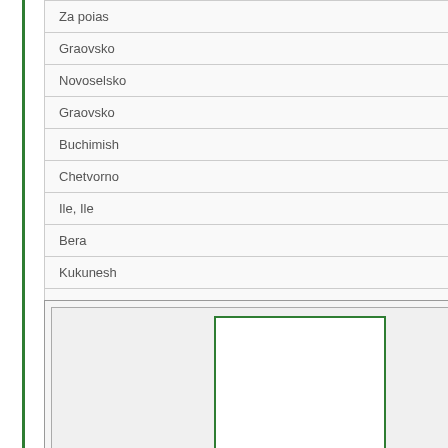| Za poias |
| Graovsko |
| Novoselsko |
| Graovsko |
| Buchimish |
| Chetvorno |
| Ile, Ile |
| Bera |
| Kukunesh |
| Za poyas |
[Figure (illustration): Empty image placeholder box with green border]
Traditional Costumes
Tsarvuli (traditional Bulgarian shoes) N 30